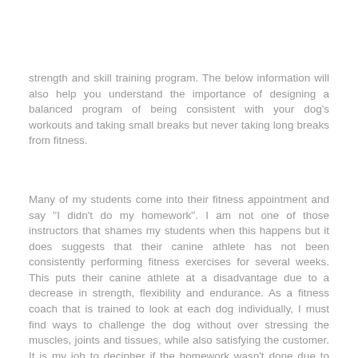strength and skill training program. The below information will also help you understand the importance of designing a balanced program of being consistent with your dog's workouts and taking small breaks but never taking long breaks from fitness.
Many of my students come into their fitness appointment and say "I didn't do my homework". I am not one of those instructors that shames my students when this happens but it does suggests that their canine athlete has not been consistently performing fitness exercises for several weeks. This puts their canine athlete at a disadvantage due to a decrease in strength, flexibility and endurance. As a fitness coach that is trained to look at each dog individually, I must find ways to challenge the dog without over stressing the muscles, joints and tissues, while also satisfying the customer. It is my job to decipher if the homework wasn't done due to time or schedule, focus of the handler or training